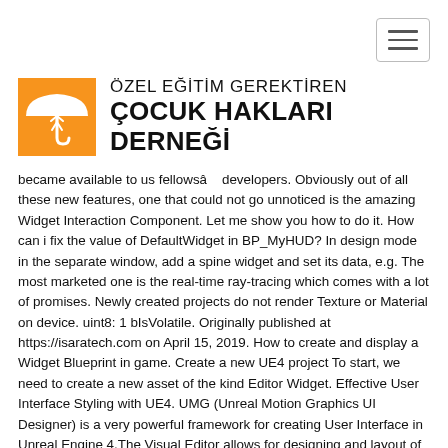[Figure (logo): Orange square logo with white umbrella and person figure, next to Turkish text 'ÖZEL EĞİTİM GEREKTİREN ÇOCUK HAKLARI DERNEĞİ']
became available to us fellowsâ developers. Obviously out of all these new features, one that could not go unnoticed is the amazing Widget Interaction Component. Let me show you how to do it. How can i fix the value of DefaultWidget in BP_MyHUD? In design mode in the separate window, add a spine widget and set its data, e.g. The most marketed one is the real-time ray-tracing which comes with a lot of promises. Newly created projects do not render Texture or Material on device. uint8: 1 bIsVolatile. Originally published at https://isaratech.com on April 15, 2019. How to create and display a Widget Blueprint in game. Create a new UE4 project To start, we need to create a new asset of the kind Editor Widget. Effective User Interface Styling with UE4. UMG (Unreal Motion Graphics UI Designer) is a very powerful framework for creating User Interface in Unreal Engine 4.The Visual Editor allows for designing and layout of the elements